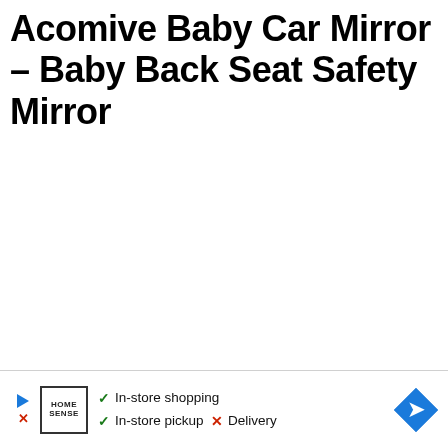Acomive Baby Car Mirror – Baby Back Seat Safety Mirror
[Figure (infographic): Advertisement bar at bottom showing HomeSense store logo with play button icon, green checkmarks next to 'In-store shopping' and 'In-store pickup', red X next to 'Delivery', and a blue diamond-shaped navigation/directions arrow icon on the right.]